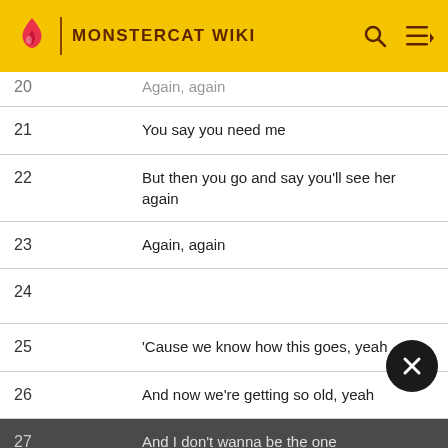MONSTERCAT WIKI
| # | Lyric |
| --- | --- |
| 20 | Again, again |
| 21 | You say you need me |
| 22 | But then you go and say you'll see her again |
| 23 | Again, again |
| 24 |  |
| 25 | 'Cause we know how this goes, yeah |
| 26 | And now we're getting so old, yeah |
| 27 | And I don't wanna be the one |
| 28 | That's picking up the pieces one by one |
| 29 |  |
| 30 |  |